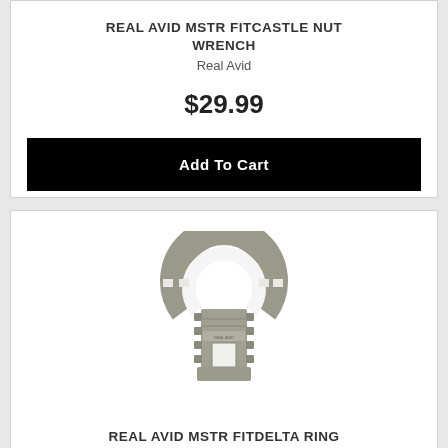REAL AVID MSTR FITCASTLE NUT WRENCH
Real Avid
$29.99
Add To Cart
[Figure (photo): Photo of a silver/grey castle nut wrench tool with open C-shaped head and square drive hole at bottom, ribbed grip sides]
REAL AVID MSTR FITDELTA RING WRENCH
Real Avid